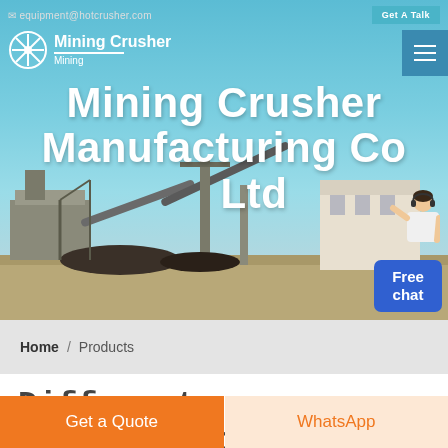equipment@hotcrusher.com   Get A Talk
[Figure (screenshot): Hero banner with industrial mining crusher facility background, company logo (snowflake/star icon), navigation bar with hamburger menu, large white bold title text 'Mining Crusher Manufacturing Co Ltd', and customer service representative figure with 'Free chat' button]
Mining Crusher Manufacturing Co Ltd
Home / Products
Different Machines To Meet All
Get a Quote   WhatsApp